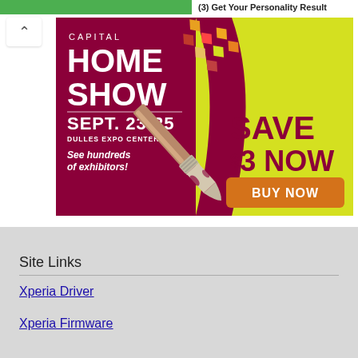(3) Get Your Personality Result
[Figure (illustration): Capital Home Show advertisement banner. Maroon left section with white text: CAPITAL HOME SHOW, SEPT. 23-25, DULLES EXPO CENTER, See hundreds of exhibitors!. Right yellow-green section with text: SAVE $3 NOW and orange BUY NOW button. Diagonal paint brush graphic in the center.]
Site Links
Xperia Driver
Xperia Firmware